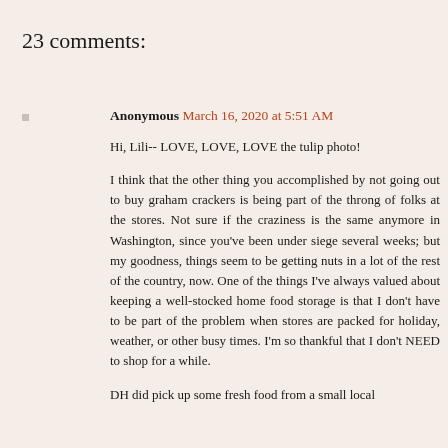23 comments:
Anonymous March 16, 2020 at 5:51 AM
Hi, Lili-- LOVE, LOVE, LOVE the tulip photo!

I think that the other thing you accomplished by not going out to buy graham crackers is being part of the throng of folks at the stores. Not sure if the craziness is the same anymore in Washington, since you've been under siege several weeks; but my goodness, things seem to be getting nuts in a lot of the rest of the country, now. One of the things I've always valued about keeping a well-stocked home food storage is that I don't have to be part of the problem when stores are packed for holiday, weather, or other busy times. I'm so thankful that I don't NEED to shop for a while.

DH did pick up some fresh food from a small local